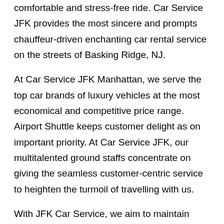comfortable and stress-free ride. Car Service JFK provides the most sincere and prompts chauffeur-driven enchanting car rental service on the streets of Basking Ridge, NJ.
At Car Service JFK Manhattan, we serve the top car brands of luxury vehicles at the most economical and competitive price range. Airport Shuttle keeps customer delight as on important priority. At Car Service JFK, our multitalented ground staffs concentrate on giving the seamless customer-centric service to heighten the turmoil of travelling with us.
With JFK Car Service, we aim to maintain punctuality and timely car service as a primary